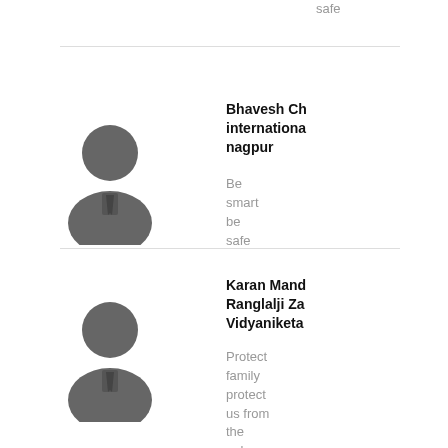safe
[Figure (illustration): Generic user avatar silhouette (head and shoulders, grey, with tie) for Bhavesh Ch]
Bhavesh Ch international nagpur
Be smart be safe
[Figure (illustration): Generic user avatar silhouette (head and shoulders, grey, with tie) for Karan Mand]
Karan Mand Ranglalji Za Vidyaniketa
Protect family protect us from the unknown websites